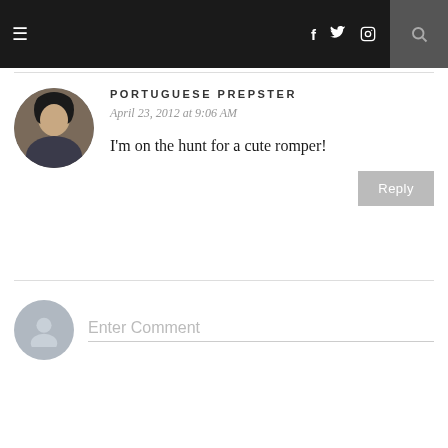≡  f  Twitter  Instagram  Pinterest  ♥  🔍
PORTUGUESE PREPSTER
April 23, 2012 at 9:06 AM
I'm on the hunt for a cute romper!
Reply
Enter Comment